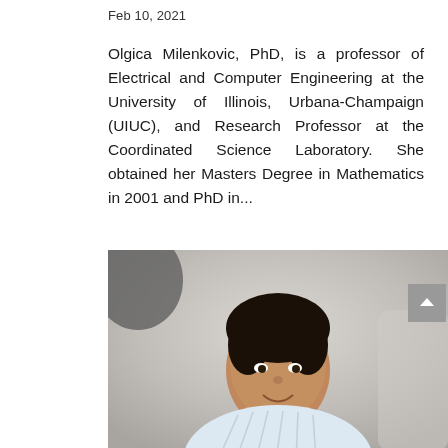Feb 10, 2021
Olgica Milenkovic, PhD, is a professor of Electrical and Computer Engineering at the University of Illinois, Urbana-Champaign (UIUC), and Research Professor at the Coordinated Science Laboratory. She obtained her Masters Degree in Mathematics in 2001 and PhD in...
[Figure (photo): Portrait photo of a young man with short dark hair, wearing a light blue striped shirt, smiling, with a blurred lab/office background]